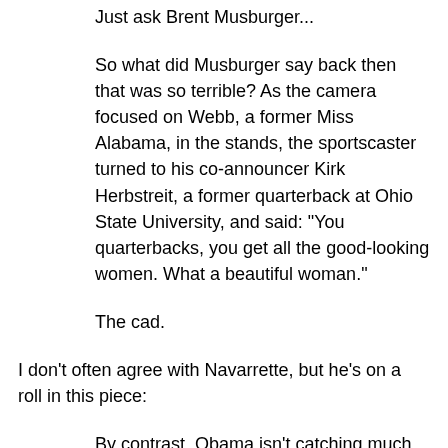Just ask Brent Musburger...
So what did Musburger say back then that was so terrible? As the camera focused on Webb, a former Miss Alabama, in the stands, the sportscaster turned to his co-announcer Kirk Herbstreit, a former quarterback at Ohio State University, and said: "You quarterbacks, you get all the good-looking women. What a beautiful woman."
The cad.
I don't often agree with Navarrette, but he's on a roll in this piece:
By contrast, Obama isn't catching much criticism for a similar comment that he made Thursday during a swing through California. The wince-inducing remark may have been nothing more than innocent banter between old friends, as Obama supporters claimed. But it is also undeniably sexist.